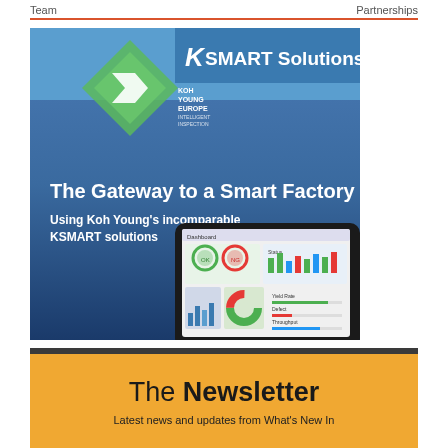Team    Partnerships
[Figure (illustration): Koh Young Europe KSMART Solutions advertisement showing a blue gradient background with the Koh Young logo (green diamond shape with arrow), KSMART Solutions branding, text 'The Gateway to a Smart Factory Using Koh Young's incomparable KSMART solutions', and a tablet showing dashboard software.]
The Newsletter
Latest news and updates from What's New In